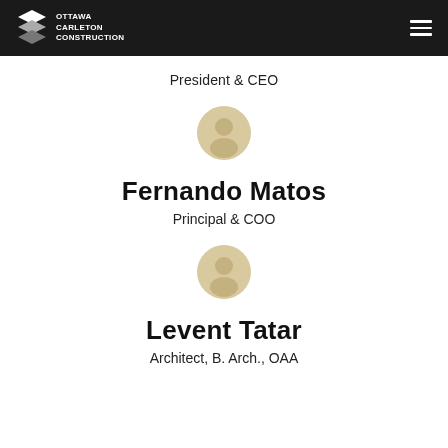Ottawa Carleton Construction
President & CEO
[Figure (illustration): Generic user/person avatar icon in tan/gold color]
Fernando Matos
Principal & COO
[Figure (illustration): Generic user/person avatar icon in tan/gold color]
Levent Tatar
Architect, B. Arch., OAA